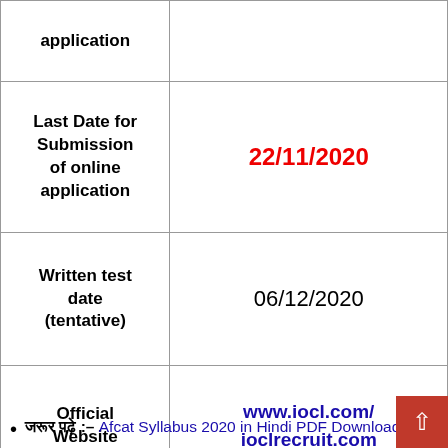| Field | Value |
| --- | --- |
| application |  |
| Last Date for Submission of online application | 22/11/2020 |
| Written test date (tentative) | 06/12/2020 |
| Official Website | www.iocl.com/ ioclrecruit.com |
जरूर पढ़े :– Afcat Syllabus 2020 in Hindi PDF Download
जाए पढ़े :– SSC CHSL 2020 Syllabus & E...